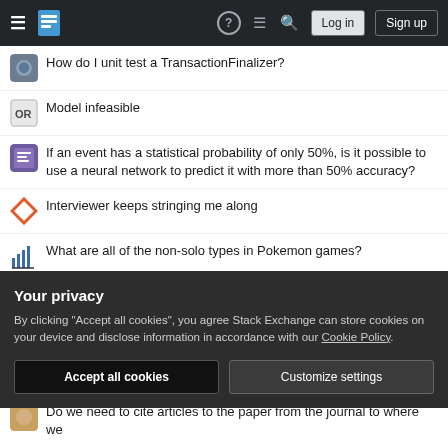Stack Exchange navigation bar with hamburger menu, logo, help, chat, search, Log in, Sign up
How do I unit test a TransactionFinalizer?
Model infeasible
If an event has a statistical probability of only 50%, is it possible to use a neural network to predict it with more than 50% accuracy?
Interviewer keeps stringing me along
What are all of the non-solo types in Pokemon games?
Did something like floppy disk jukeboxes for home computers exist in the 70s or 80s? Would that have been a feasible concept?
What factors would contribute to a medieval era mechanical revolution?
Are arbitrary nonempty intersections of principal filters principal?
Your privacy
By clicking "Accept all cookies", you agree Stack Exchange can store cookies on your device and disclose information in accordance with our Cookie Policy.
Accept all cookies  Customize settings
Do we need to cite articles to the paper from the journal to where we